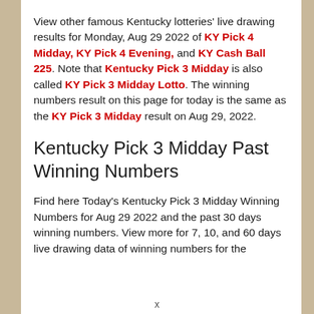View other famous Kentucky lotteries' live drawing results for Monday, Aug 29 2022 of KY Pick 4 Midday, KY Pick 4 Evening, and KY Cash Ball 225. Note that Kentucky Pick 3 Midday is also called KY Pick 3 Midday Lotto. The winning numbers result on this page for today is the same as the KY Pick 3 Midday result on Aug 29, 2022.
Kentucky Pick 3 Midday Past Winning Numbers
Find here Today's Kentucky Pick 3 Midday Winning Numbers for Aug 29 2022 and the past 30 days winning numbers. View more for 7, 10, and 60 days live drawing data of winning numbers for the
x